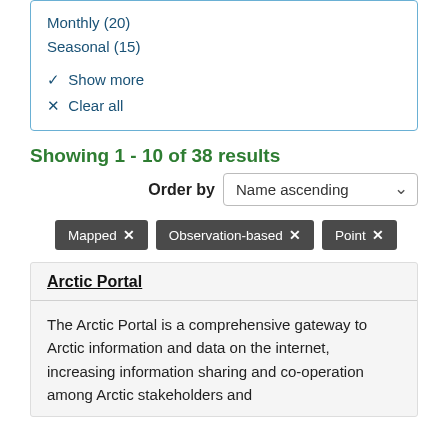Monthly (20)
Seasonal (15)
✔ Show more
✖ Clear all
Showing 1 - 10 of 38 results
Order by
Name ascending
Mapped ✖
Observation-based ✖
Point ✖
Arctic Portal
The Arctic Portal is a comprehensive gateway to Arctic information and data on the internet, increasing information sharing and co-operation among Arctic stakeholders and